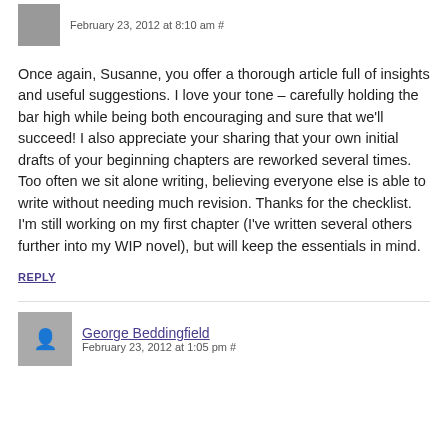February 23, 2012 at 8:10 am #
Once again, Susanne, you offer a thorough article full of insights and useful suggestions. I love your tone – carefully holding the bar high while being both encouraging and sure that we'll succeed! I also appreciate your sharing that your own initial drafts of your beginning chapters are reworked several times. Too often we sit alone writing, believing everyone else is able to write without needing much revision. Thanks for the checklist. I'm still working on my first chapter (I've written several others further into my WIP novel), but will keep the essentials in mind.
REPLY
George Beddingfield
February 23, 2012 at 1:05 pm #